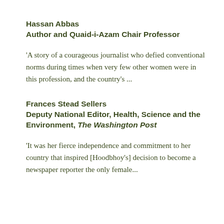Hassan Abbas
Author and Quaid-i-Azam Chair Professor
'A story of a courageous journalist who defied conventional norms during times when very few other women were in this profession, and the country's ...
Frances Stead Sellers
Deputy National Editor, Health, Science and the Environment, The Washington Post
'It was her fierce independence and commitment to her country that inspired [Hoodbhoy's] decision to become a newspaper reporter the only female...